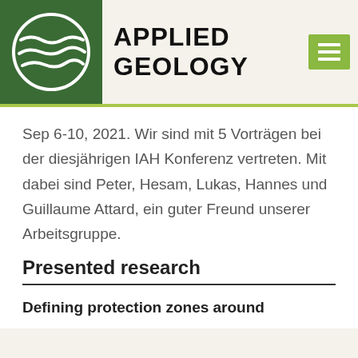Applied Geology
Sep 6-10, 2021. Wir sind mit 5 Vorträgen bei der diesjährigen IAH Konferenz vertreten. Mit dabei sind Peter, Hesam, Lukas, Hannes und Guillaume Attard, ein guter Freund unserer Arbeitsgruppe.
Presented research
Defining protection zones around boreholes and wells to the...